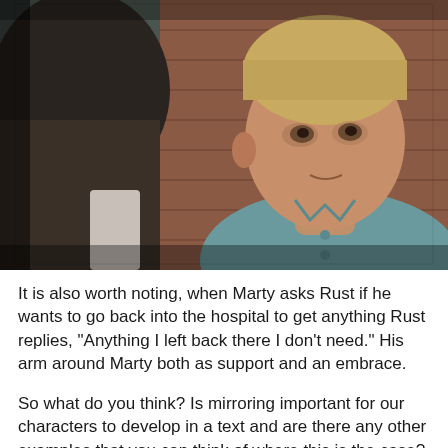[Figure (photo): A still from a TV show (True Detective) showing two characters facing each other outdoors near a brick wall. A man in a teal/blue polo shirt with blonde hair is visible on the right side facing the camera, while the back of another person's head is seen on the left.]
It is also worth noting, when Marty asks Rust if he wants to go back into the hospital to get anything Rust replies, "Anything I left back there I don't need." His arm around Marty both as support and an embrace.
So what do you think? Is mirroring important for our characters to develop in a text and are there any other examples that you can think of where this is the case?